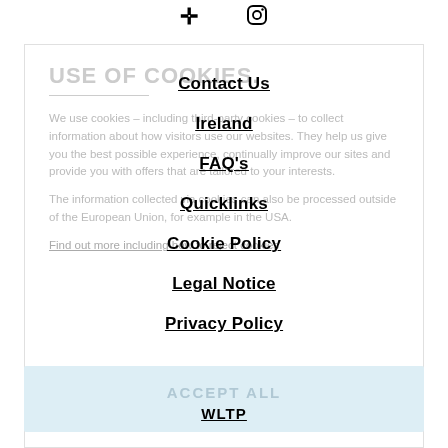[Figure (illustration): Social media icons: Facebook (cross/plus shape) and Instagram (rounded square camera icon) centered at top]
USE OF COOKIES.
We use cookies – including third-party cookies – to collect information about how visitors use our websites. They help us give you the best possible experience, continually improve our sites and provide you with offers that are tailored to your interests.
The information collected via cookies can also be processed outside of the European Union, for example in the USA.
Find out more including how to reject cookies
Contact Us
Ireland
FAQ's
Quicklinks
Cookie Policy
Legal Notice
Privacy Policy
ACCEPT ALL
WLTP